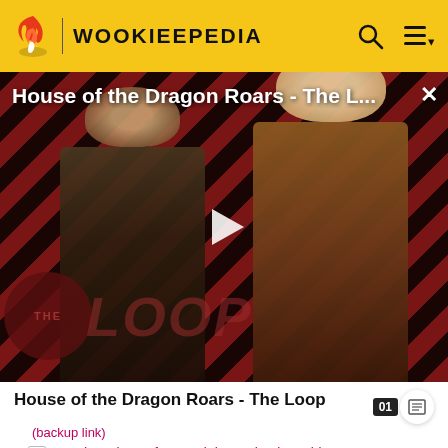WOOKIEEPEDIA
[Figure (screenshot): Video thumbnail showing two characters from House of the Dragon on a diagonal red-black striped background with THE LOOP logo overlay, a play button in the center, and title 'House of the Dragon Roars - The L...' at the top]
House of the Dragon Roars - The Loop
(backup link)
SW "On the Wings of Keeradaks" Episode Guide on StarWars.com (backup link)
SW "Unfinished Business" Episode Guide on